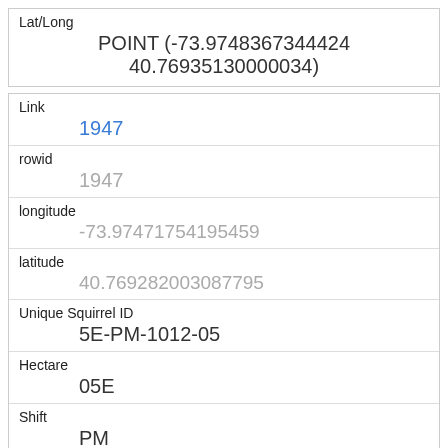| Field | Value |
| --- | --- |
| Lat/Long | POINT (-73.9748367344424 40.76935130000034) |
| Link | 1947 |
| rowid | 1947 |
| longitude | -73.97471754195459 |
| latitude | 40.769282003087795 |
| Unique Squirrel ID | 5E-PM-1012-05 |
| Hectare | 05E |
| Shift | PM |
| Date | 10122018 |
| Hectare Squirrel Number | 5 |